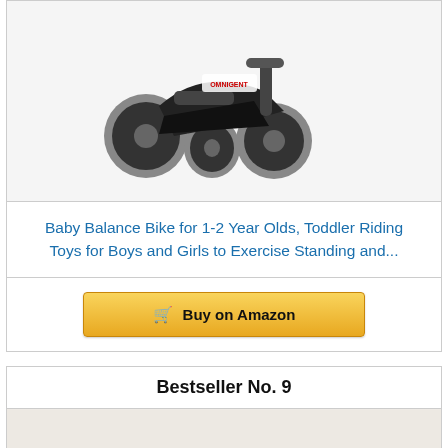[Figure (photo): A baby balance bike/riding toy with gray wheels and black frame, shown from the front-side angle on a light gray background.]
Baby Balance Bike for 1-2 Year Olds, Toddler Riding Toys for Boys and Girls to Exercise Standing and...
Buy on Amazon
Bestseller No. 9
[Figure (photo): Foot care toe separator products laid out showing multiple sizes of gel toe spacers/separators and metatarsal pads on a light beige background.]